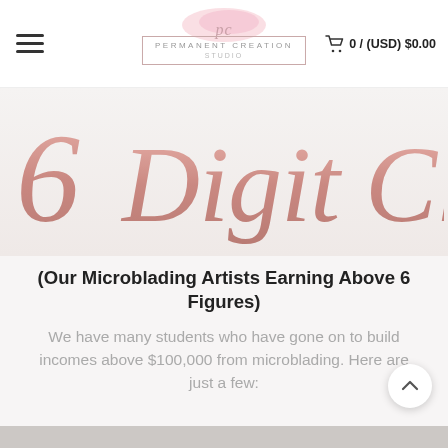Permanent Creation Studio — 0 / (USD) $0.00
[Figure (illustration): Decorative rose-gold metallic script text reading '6 Digit Club' in large cursive lettering on a light pink/grey background]
(Our Microblading Artists Earning Above 6 Figures)
We have many students who have gone on to build incomes above $100,000 from microblading. Here are just a few: